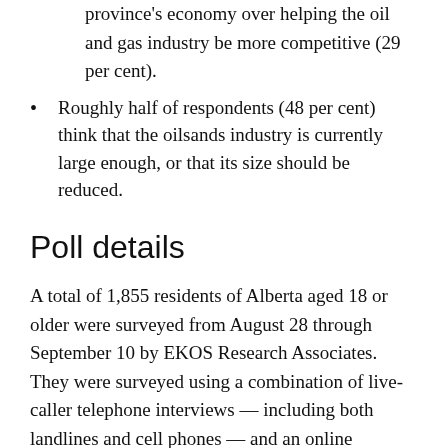province's economy over helping the oil and gas industry be more competitive (29 per cent).
Roughly half of respondents (48 per cent) think that the oilsands industry is currently large enough, or that its size should be reduced.
Poll details
A total of 1,855 residents of Alberta aged 18 or older were surveyed from August 28 through September 10 by EKOS Research Associates. They were surveyed using a combination of live-caller telephone interviews — including both landlines and cell phones — and an online probability panel.
The margin of error for the full sample is ±2.3